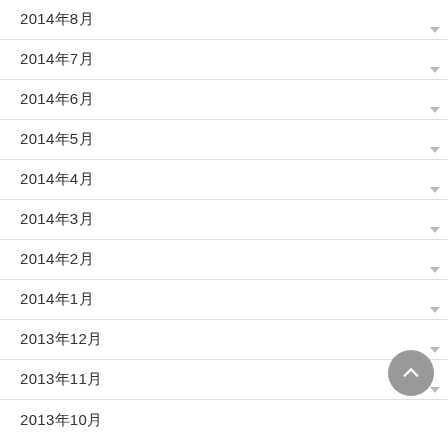2014年8月
2014年7月
2014年6月
2014年5月
2014年4月
2014年3月
2014年2月
2014年1月
2013年12月
2013年11月
2013年10月